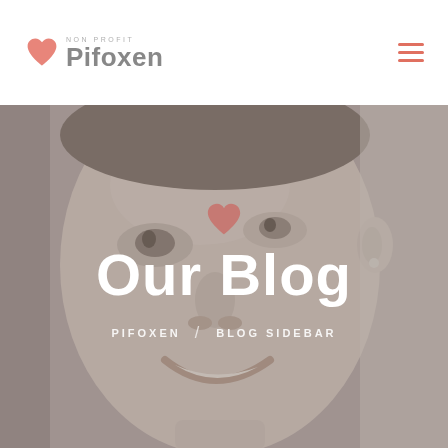NON PROFIT Pifoxen
[Figure (photo): Grayscale close-up photo of a smiling young person's face as hero banner background]
Our Blog
PIFOXEN / BLOG SIDEBAR